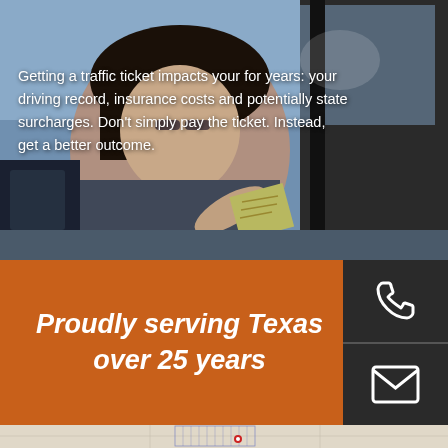[Figure (photo): Woman in car receiving a traffic ticket from an officer, dark vehicle visible, outdoor setting]
Getting a traffic ticket impacts your for years: your driving record, insurance costs and potentially state surcharges. Don't simply pay the ticket. Instead, get a better outcome.
Proudly serving Texas over 25 years
[Figure (infographic): Phone icon (white handset on dark background)]
[Figure (infographic): Email/envelope icon (white envelope on dark background)]
[Figure (map): Map of Texas and surrounding states with blue grid overlay on Texas and a red location pin marker]